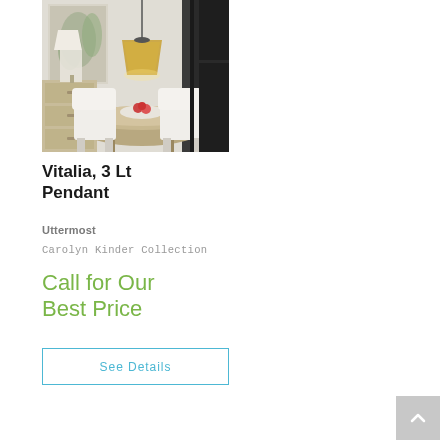[Figure (photo): Interior dining room scene with a pendant light hanging over a round wooden table, white chairs, a dresser with a lamp, and framed botanical artwork in the background.]
Vitalia, 3 Lt Pendant
Uttermost
Carolyn Kinder Collection
Call for Our Best Price
See Details